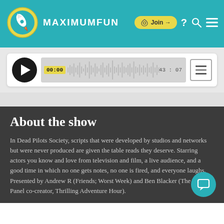MAXIMUMFUN
[Figure (screenshot): Audio player with play button, waveform, timecode 00:00 start and 43:07 end, and menu button]
About the show
In Dead Pilots Society, scripts that were developed by studios and networks but were never produced are given the table reads they deserve. Starring actors you know and love from television and film, a live audience, and a good time in which no one gets notes, no one is fired, and everyone laughs. Presented by Andrew R (Friends; Worst Week) and Ben Blacker (The Writers Panel co-creator, Thrilling Adventure Hour).